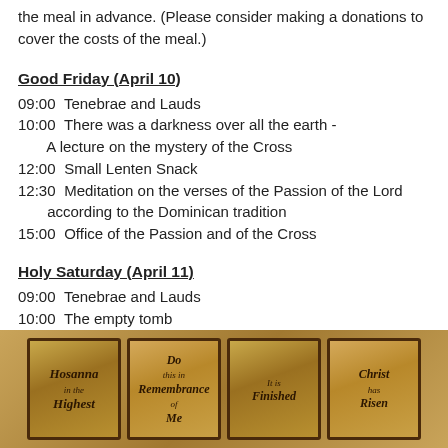the meal in advance. (Please consider making a donations to cover the costs of the meal.)
Good Friday (April 10)
09:00  Tenebrae and Lauds
10:00  There was a darkness over all the earth - A lecture on the mystery of the Cross
12:00  Small Lenten Snack
12:30  Meditation on the verses of the Passion of the Lord according to the Dominican tradition
15:00  Office of the Passion and of the Cross
Holy Saturday (April 11)
09:00  Tenebrae and Lauds
10:00  The empty tomb
A lecture about the sense of expectation building up
[Figure (illustration): Four decorative cards on a parchment/aged background showing Easter Holy Week themes: 'Hosanna in the Highest', 'Do this in Remembrance of Me', 'It is Finished', and 'Christ has Risen']